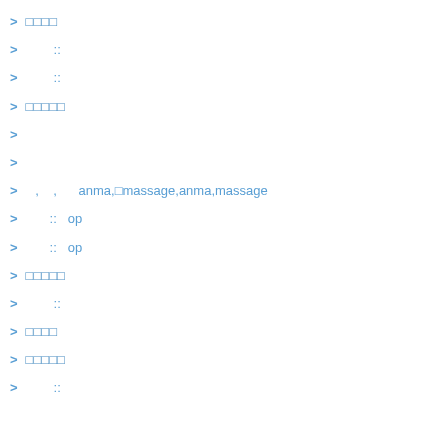&#x25B7; テスト
&#x25B7; 　　　 ::
&#x25B7; 　　　 ::
&#x25B7; テストテス
&#x25B7;
&#x25B7;
&#x25B7; 　 , 　 ,　　 anma,　massage,anma,massage
&#x25B7; 　　　 :: op
&#x25B7; 　　　 :: op
&#x25B7; テストテス
&#x25B7; 　　　 ::
&#x25B7; テスト
&#x25B7; テストテス
&#x25B7; 　　　 ::